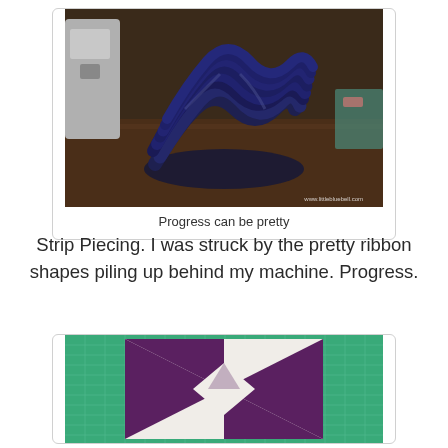[Figure (photo): Photo of dark navy fabric ribbon loops piling up behind a sewing machine on a wooden table. Watermark reads www.littlebluebell.com]
Progress can be pretty
Strip Piecing.  I was struck by the pretty ribbon shapes piling up behind my machine.  Progress.
[Figure (photo): Photo of a quilt block with purple/plum and white fabric arranged in a geometric star/bowtie pattern on a green cutting mat]